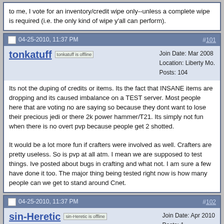to me, I vote for an inventory/credit wipe only--unless a complete wipe is required (i.e. the only kind of wipe y'all can perform).
04-25-2010, 11:37 PM  #101
tonkatuff  tonkatuff is offline  Join Date: Mar 2008  Location: Liberty Mo.  Posts: 104
Its not the duping of credits or items. Its the fact that INSANE items are dropping and its caused imbalance on a TEST server. Most people here that are voting no are saying so because they dont want to lose their precious jedi or there 2k power hammer/T21. Its simply not fun when there is no overt pvp because people get 2 shotted.

It would be a lot more fun if crafters were involved as well. Crafters are pretty useless. So is pvp at all atm. I mean we are supposed to test things. Ive posted about bugs in crafting and what not. I am sure a few have done it too. The major thing being tested right now is how many people can we get to stand around Cnet.
04-25-2010, 11:37 PM  #102
sin-Heretic  sin-Heretic is offline  Join Date: Apr 2010  Posts: 1
Only been on two days do what ya gotta do.